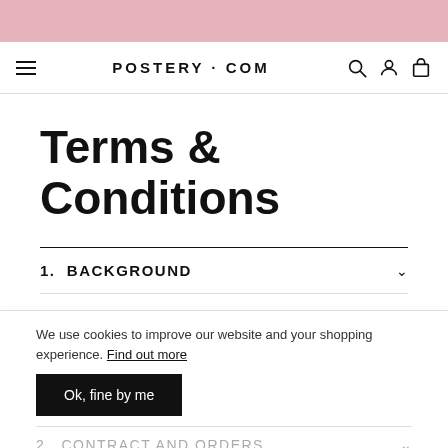POSTERY·COM
Terms & Conditions
1. BACKGROUND
2. CONTRACT AND ORDERS
3. CUSTOMER DATA ETC.
We use cookies to improve our website and your shopping experience. Find out more
Ok, fine by me